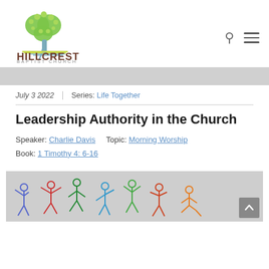[Figure (logo): Hillcrest Baptist Church logo with a green tree in heart shape above a blue line, text HILLCREST in brown and BAPTIST CHURCH in gray below]
July 3 2022   Series: Life Together
Leadership Authority in the Church
Speaker: Charlie Davis   Topic: Morning Worship
Book: 1 Timothy 4: 6-16
[Figure (illustration): Colorful stick figures in various dancing/active poses against a gray background]